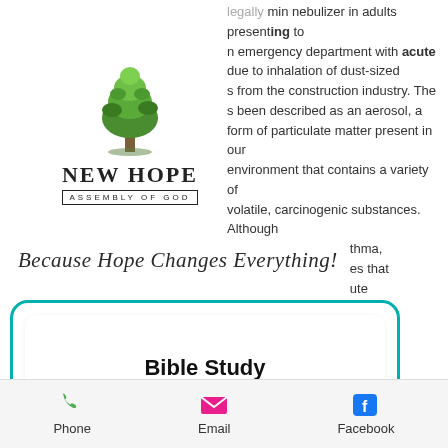legally min nebulizer in adults presenting to an emergency department with acute due to inhalation of dust-sized s from the construction industry. The s been described as an aerosol, a form of particulate matter present in our environment that contains a variety of volatile, carcinogenic substances. Although thma, es that ute se pp. The dusts the d away.
[Figure (logo): New Hope Assembly of God logo with tree graphic]
Because Hope Changes Everything!
Bible Study
9:00 a.m. to 9:45 a.m.
[Figure (photo): People holding hands around a Bible on a table]
Phone   Email   Facebook